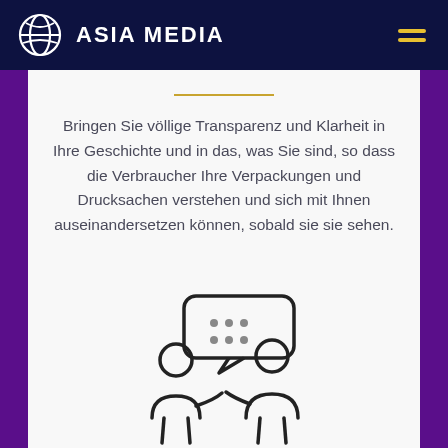ASIA MEDIA
Bringen Sie völlige Transparenz und Klarheit in Ihre Geschichte und in das, was Sie sind, so dass die Verbraucher Ihre Verpackungen und Drucksachen verstehen und sich mit Ihnen auseinandersetzen können, sobald sie sie sehen.
[Figure (illustration): Two people in discussion with a speech bubble containing dots, representing communication or consultation]